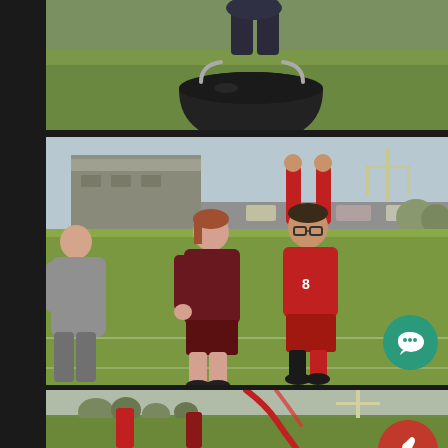[Figure (photo): Top photo showing a person crouching with a large black bucket/tub on a green grass field outdoors.]
[Figure (photo): Middle photo showing three students on a sports field. A girl in grey is on the left, a girl in maroon hoodie and shorts is in the center, and a boy in red shirt and shorts has both arms raised in celebration. A school building and football goal post are visible in the background.]
[Figure (photo): Bottom partial photo showing people outdoors on a field, partially cropped.]